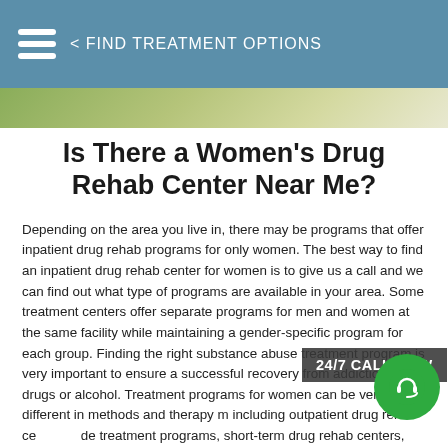< FIND TREATMENT OPTIONS
[Figure (photo): Partial view of a nature/plant-themed banner image strip]
Is There a Women’s Drug Rehab Center Near Me?
Depending on the area you live in, there may be programs that offer inpatient drug rehab programs for only women. The best way to find an inpatient drug rehab center for women is to give us a call and we can find out what type of programs are available in your area. Some treatment centers offer separate programs for men and women at the same facility while maintaining a gender-specific program for each group. Finding the right substance abuse treatment program is very important to ensure a successful recovery from addiction to drugs or alcohol. Treatment programs for women can be very different in methods and therapy m including outpatient drug rehab ce de treatment programs, short-term drug rehab centers, and p hospitalization day treatment with sober living environments.
24/7 CALL NOW